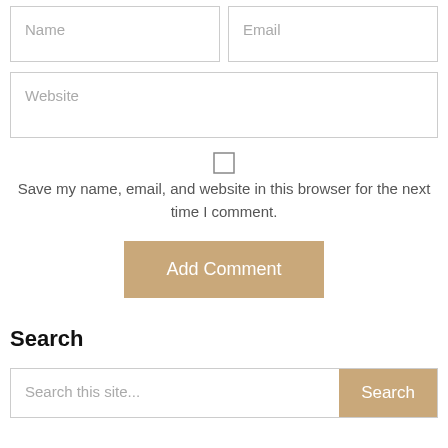Name
Email
Website
Save my name, email, and website in this browser for the next time I comment.
Add Comment
Search
Search this site...
Search